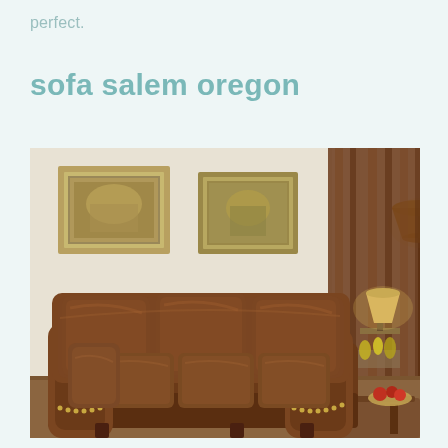perfect.
sofa salem oregon
[Figure (photo): A brown leather three-seat sofa with rolled arms and nailhead trim, displayed in a living room setting with framed artwork on cream walls, a floor lamp, table lamp, and brown curtains in the background.]